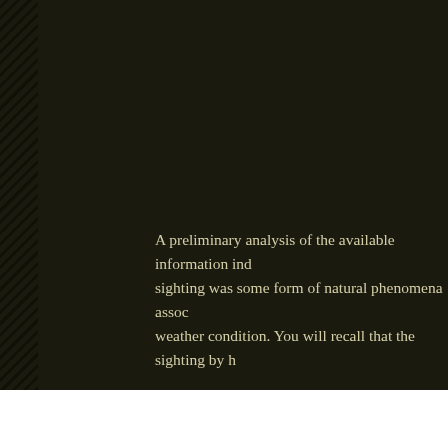A preliminary analysis of the available information ind... sighting was some form of natural phenomena associ... weather condition. You will recall that the sighting by h...